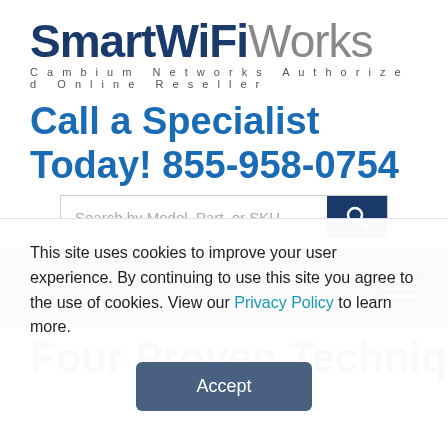[Figure (logo): SmartWiFiWorks logo with tagline 'Cambium Networks Authorized Online Reseller']
Call a Specialist Today! 855-958-0754
[Figure (screenshot): Search bar with placeholder 'Search by Model, Part, or SKU' and dark blue search button with magnifying glass icon]
[Figure (screenshot): Gray navigation bar with hamburger menu icon on the right]
Four Proven Techniques
This site uses cookies to improve your user experience. By continuing to use this site you agree to the use of cookies. View our Privacy Policy to learn more.
Accept